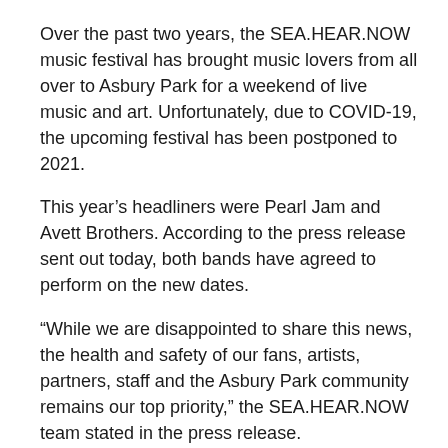Over the past two years, the SEA.HEAR.NOW music festival has brought music lovers from all over to Asbury Park for a weekend of live music and art. Unfortunately, due to COVID-19, the upcoming festival has been postponed to 2021.
This year’s headliners were Pearl Jam and Avett Brothers. According to the press release sent out today, both bands have agreed to perform on the new dates.
“While we are disappointed to share this news, the health and safety of our fans, artists, partners, staff and the Asbury Park community remains our top priority,” the SEA.HEAR.NOW team stated in the press release.
Many have already purchased tickets for the 2020 festival and they will be honored at the 2021 event.
SEA.HEAR.NOW. was co-founded by Tim Donnolly and photographer Danny Clinch, who are both from New Jersey. Just outside of the typical festival grounds,